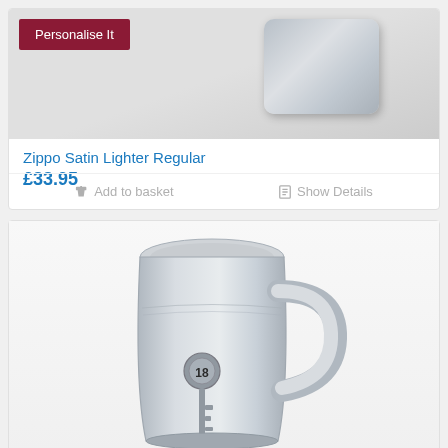[Figure (photo): Zippo satin lighter product image with a dark red 'Personalise It' badge overlay]
Zippo Satin Lighter Regular
£33.95
Add to basket
Show Details
[Figure (photo): Silver pewter tankard/mug with a key and number 18 emblem on the front, with a handle on the right side]